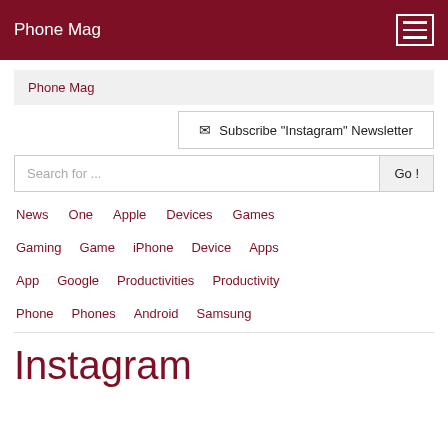Phone Mag
Phone Mag
✉ Subscribe "Instagram" Newsletter
Search for ...
News
One
Apple
Devices
Games
Gaming
Game
iPhone
Device
Apps
App
Google
Productivities
Productivity
Phone
Phones
Android
Samsung
Instagram